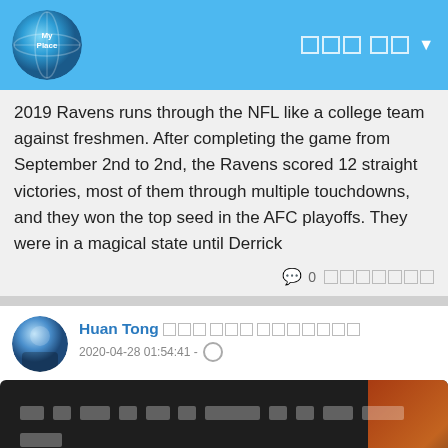My Place [nav logo] [nav boxes] [dropdown]
2019 Ravens runs through the NFL like a college team against freshmen. After completing the game from September 2nd to 2nd, the Ravens scored 12 straight victories, most of them through multiple touchdowns, and they won the top seed in the AFC playoffs. They were in a magical state until Derrick
0 [comment boxes]
Huan Tong [boxes] 2020-04-28 01:54:41 - [globe]
[Figure (screenshot): Dark card with redacted Chinese text content, a redacted link, and a blue button with redacted text. Partially visible motorcycle/sports image on the right side.]